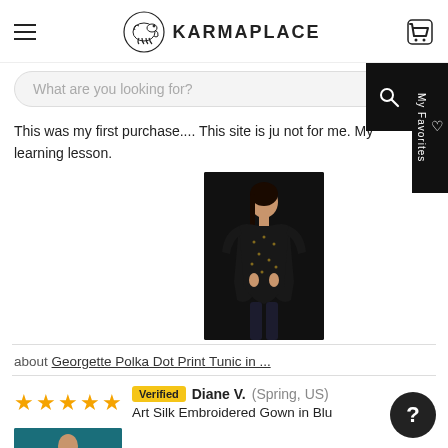KARMAPLACE — navigation header
What are you looking for?
This was my first purchase.... This site is ju not for me. My learning lesson.
[Figure (photo): Woman wearing a black Georgette Polka Dot Print Tunic, full-length product photo on white background]
about Georgette Polka Dot Print Tunic in ...
★★★★★ Verified Diane V. (Spring, US) Art Silk Embroidered Gown in Blu...
[Figure (photo): Partial product photo of a teal/blue Art Silk Embroidered Gown]